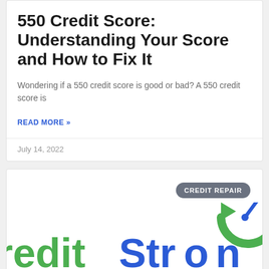550 Credit Score: Understanding Your Score and How to Fix It
Wondering if a 550 credit score is good or bad? A 550 credit score is
READ MORE »
July 14, 2022
[Figure (logo): CreditStrong logo with green and blue lettering and a green circular arrow icon, with a 'CREDIT REPAIR' badge in gray]